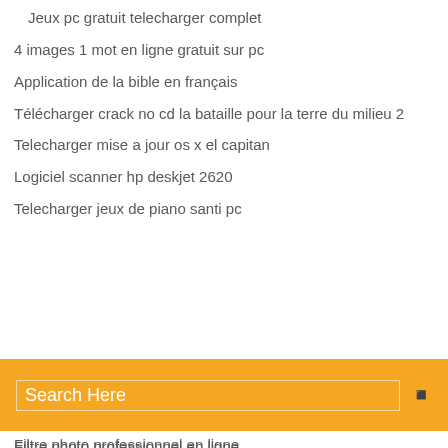Jeux pc gratuit telecharger complet
4 images 1 mot en ligne gratuit sur pc
Application de la bible en français
Télécharger crack no cd la bataille pour la terre du milieu 2
Telecharger mise a jour os x el capitan
Logiciel scanner hp deskjet 2620
Telecharger jeux de piano santi pc
[Figure (screenshot): Orange search bar with 'Search Here' placeholder text and a search icon on the right]
Filtre photo professionnel en ligne
Stellar phoenix windows data recovery 6 activation key
Convertir un fichier mp4 en mp3
Watch dogs pc descargar gratis
How to reinstall safari on my mac
Télécharger dragon ball z shin budokai 2
Free vpn for android 2.3.6
Flash player for chrome android gratuit télécharger
Effacer toutes les données dun ordinateur
Equivalent picasa pour windows 10